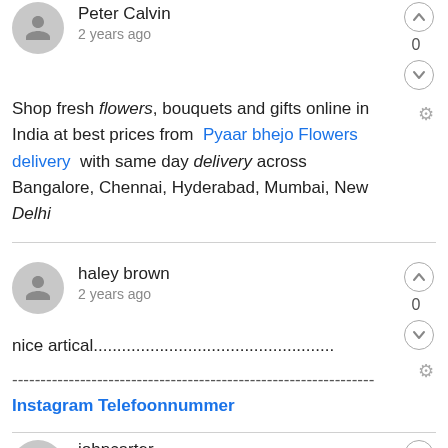Peter Calvin
2 years ago
Shop fresh flowers, bouquets and gifts online in India at best prices from  Pyaar bhejo Flowers delivery  with same day delivery across Bangalore, Chennai, Hyderabad, Mumbai, New Delhi
haley brown
2 years ago
nice artical...............................................
----------------------------------------------------------------
Instagram Telefoonnummer
johncarter